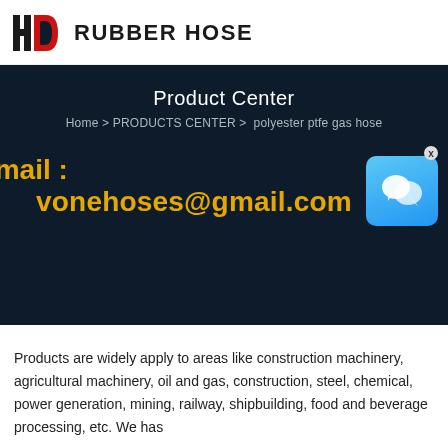HD RUBBER HOSE
Product Center
Home > PRODUCTS CENTER > polyester ptfe gas hose
Email : vonehoses@gmail.com
Products are widely apply to areas like construction machinery, agricultural machinery, oil and gas, construction, steel, chemical, power generation, mining, railway, shipbuilding, food and beverage processing, etc. We has